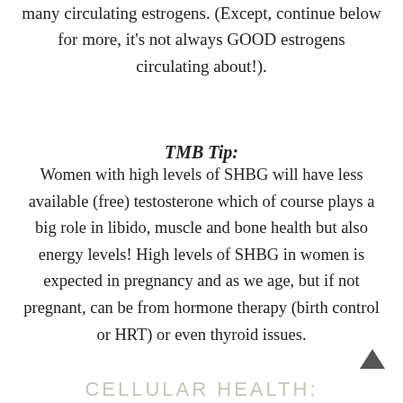many circulating estrogens (Except, continue below for more, it's not always GOOD estrogens circulating about!).
TMB Tip:
Women with high levels of SHBG will have less available (free) testosterone which of course plays a big role in libido, muscle and bone health but also energy levels! High levels of SHBG in women is expected in pregnancy and as we age, but if not pregnant, can be from hormone therapy (birth control or HRT) or even thyroid issues.
CELLULAR HEALTH: